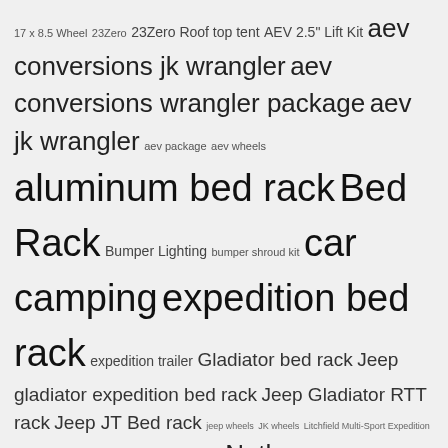[Figure (other): Tag cloud / word cloud containing overlanding and off-road vehicle accessory related tags in varying font sizes indicating relative frequency or importance. Tags include: 17x8.5 Wheel, 23Zero, 23Zero Roof top tent, AEV 2.5" Lift Kit, aev conversions jk wrangler, aev conversions wrangler package, aev jk wrangler, aev package, aev wheels, aluminum bed rack, Bed Rack, Bumper Lighting, bumper shroud kit, car camping, expedition bed rack, expedition trailer, Gladiator bed rack, Jeep gladiator expedition bed rack, Jeep Gladiator RTT rack, Jeep JT Bed rack, jeep wheels, JK wheels, Litchfield Multi-Sport Expedition Trailer, multi-sport trailer, nuthouse expedition trailer, Nuthouse Industries Bed Rack, overlanding, overlanding tent, overland trailer, Ram Front Bumper, Ram Wheel, roof top tents rack, Rotopax, RTT, Salta, Salta 17x8.5, Salta HD, Square]